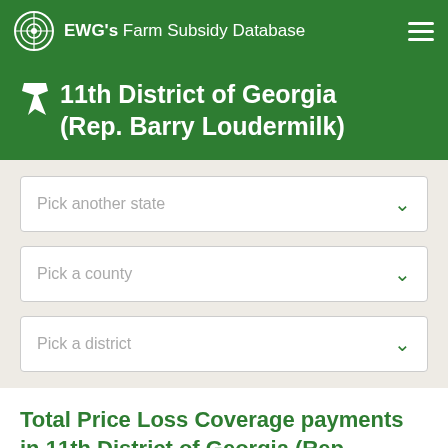EWG's Farm Subsidy Database
11th District of Georgia (Rep. Barry Loudermilk)
Pick another state
Pick a county
Pick a district
Total Price Loss Coverage payments in 11th District of Georgia (Rep. Barry Loudermilk) totaled $2.1...